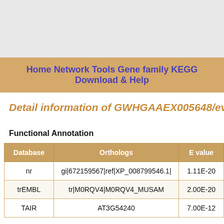Home Network Tools Gene family KEGG Download & Help
Detail information of GWHGAAEX005648/evm.T
Functional Annotation
| Database | Orthologs | E value |
| --- | --- | --- |
| nr | gi|672159567|ref|XP_008799546.1| | 1.11E-20 |
| trEMBL | tr|M0RQV4|M0RQV4_MUSAM | 2.00E-20 |
| TAIR | AT3G54240 | 7.00E-12 |